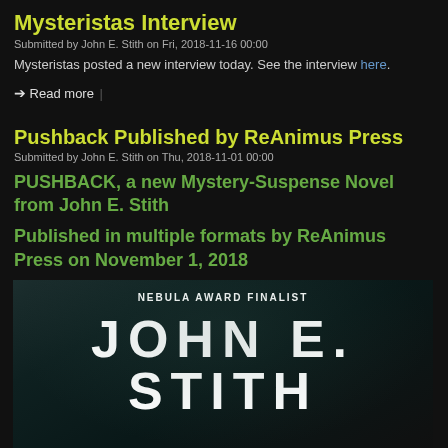Mysteristas Interview
Submitted by John E. Stith on Fri, 2018-11-16 00:00
Mysteristas posted a new interview today. See the interview here.
➔ Read more
Pushback Published by ReAnimus Press
Submitted by John E. Stith on Thu, 2018-11-01 00:00
PUSHBACK, a new Mystery-Suspense Novel from John E. Stith
Published in multiple formats by ReAnimus Press on November 1, 2018
[Figure (photo): Book cover for Pushback by John E. Stith showing author name in large white letters on dark smoky background with text NEBULA AWARD FINALIST at top]